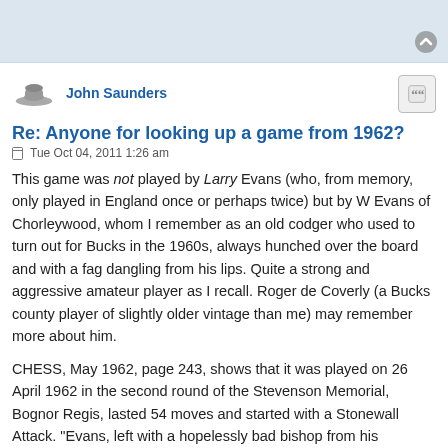John Saunders
Re: Anyone for looking up a game from 1962?
Tue Oct 04, 2011 1:26 am
This game was not played by Larry Evans (who, from memory, only played in England once or perhaps twice) but by W Evans of Chorleywood, whom I remember as an old codger who used to turn out for Bucks in the 1960s, always hunched over the board and with a fag dangling from his lips. Quite a strong and aggressive amateur player as I recall. Roger de Coverly (a Bucks county player of slightly older vintage than me) may remember more about him.
CHESS, May 1962, page 243, shows that it was played on 26 April 1962 in the second round of the Stevenson Memorial, Bognor Regis, lasted 54 moves and started with a Stonewall Attack. "Evans, left with a hopelessly bad bishop from his Stonewall Attack, went down to a clever sacrifice in the ending." However, it does not have all the moves of the game (BCM has no info on this game). The position is given on page 247 of the same issue of CHESS as part of a 'Winning Combinative Play' feature. However,